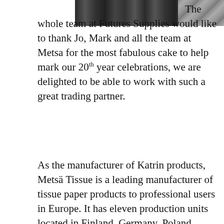[Figure (photo): Partial photo strip at top of page showing a group of people, cropped]
The whole team at Futures Supplies would like to thank Jo, Mark and all the team at Metsa for the most fabulous cake to help mark our 20th year celebrations, we are delighted to be able to work with such a great trading partner.
As the manufacturer of Katrin products, Metsä Tissue is a leading manufacturer of tissue paper products to professional users in Europe. It has eleven production units located in Finland, Germany, Poland, Russia, Slovakia and Sweden and in value terms is the fourth largest supplier of tissue paper products in Europe.
Metsä Tissue lead the tissue industry in developing low-impact processes and practices. Recycled fibre accounts for 60% of the fibre it uses and all primary fibre suppliers are chain-of-custody certified, ensuring sustainable forest management which means they make